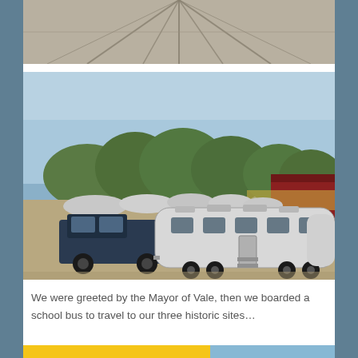[Figure (photo): Top portion of a photo showing a paved surface with crack patterns radiating outward, viewed from above, gray tones]
[Figure (photo): Outdoor scene at a fairground or open lot showing multiple silver Airstream trailers parked together, with pickup trucks and other vehicles, trees in background, red barn structure on right, blue sky]
We were greeted by the Mayor of Vale, then we boarded a school bus to travel to our three historic sites...
[Figure (photo): Bottom strip of next photo showing yellow and blue colors, partially visible]